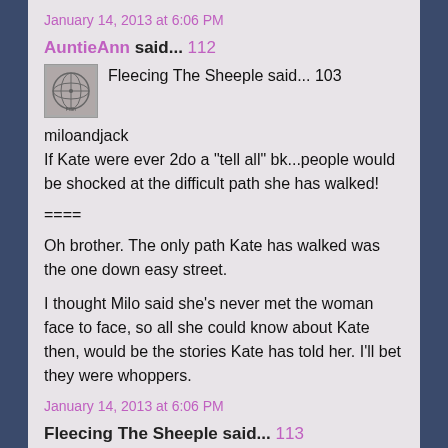January 14, 2013 at 6:06 PM
AuntieAnn said... 112
Fleecing The Sheeple said... 103
miloandjack
If Kate were ever 2do a "tell all" bk...people would be shocked at the difficult path she has walked!
====
Oh brother. The only path Kate has walked was the one down easy street.
I thought Milo said she's never met the woman face to face, so all she could know about Kate then, would be the stories Kate has told her. I'll bet they were whoppers.
January 14, 2013 at 6:06 PM
Fleecing The Sheeple said... 113